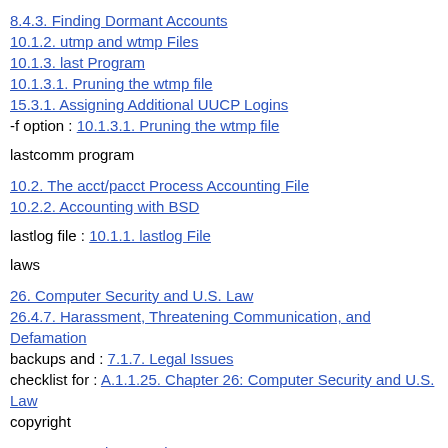8.4.3. Finding Dormant Accounts
10.1.2. utmp and wtmp Files
10.1.3. last Program
10.1.3.1. Pruning the wtmp file
15.3.1. Assigning Additional UUCP Logins
-f option : 10.1.3.1. Pruning the wtmp file
lastcomm program
10.2. The acct/pacct Process Accounting File
10.2.2. Accounting with BSD
lastlog file : 10.1.1. lastlog File
laws
26. Computer Security and U.S. Law
26.4.7. Harassment, Threatening Communication, and Defamation
backups and : 7.1.7. Legal Issues
checklist for : A.1.1.25. Chapter 26: Computer Security and U.S. Law
copyright
9.2.1. Comparison Copies
26.4.2. Copyright Infringement